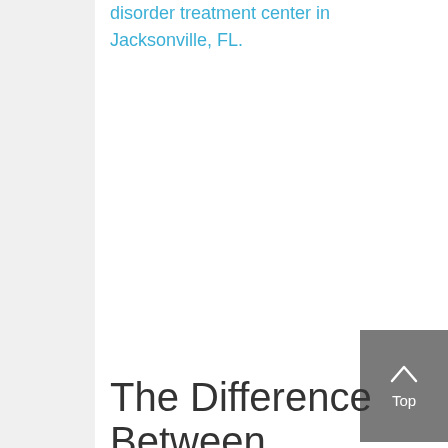disorder treatment center in Jacksonville, FL.
[Figure (other): Back to top button with upward chevron arrow and 'Top' label on gray background]
The Difference Between